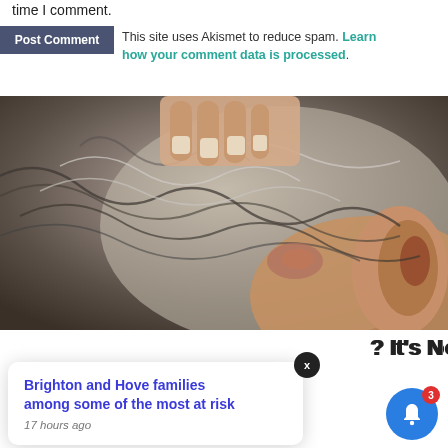time I comment.
This site uses Akismet to reduce spam. Learn how your comment data is processed.
[Figure (photo): Close-up photograph of a man's scalp/neck area showing gray hair and a skin condition, with fingers scratching the scalp.]
? It's Not
[Figure (other): Notification popup: Brighton and Hove families among some of the most at risk — 17 hours ago]
Brighton and Hove families among some of the most at risk
17 hours ago